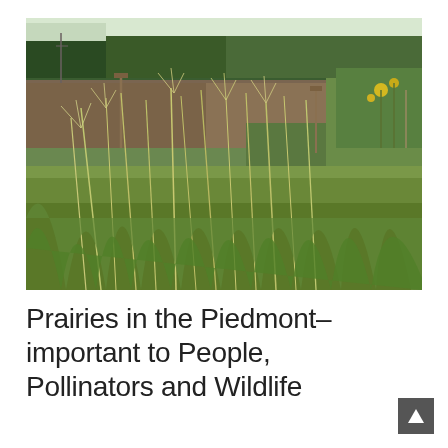[Figure (photo): Outdoor photograph of a prairie garden area with tall wild grasses in the foreground, a plowed/bare field in the background, and trees along the horizon. Yellow wildflowers visible on the right side.]
Prairies in the Piedmont–important to People, Pollinators and Wildlife